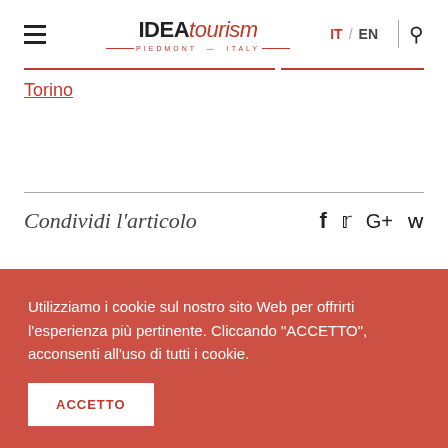IDEA tourism — PIEDMONT — ITALY | IT / EN
Torino
Condividi l'articolo
Utilizziamo i cookie sul nostro sito Web per offrirti l'esperienza più pertinente. Cliccando "ACCETTO", acconsenti all'uso di tutti i cookie.
ACCETTO